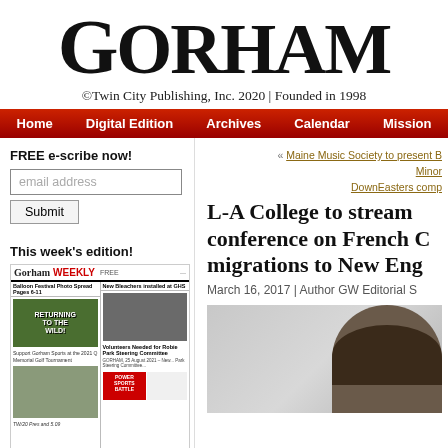GORHAM
©Twin City Publishing, Inc. 2020 | Founded in 1998
Home | Digital Edition | Archives | Calendar | Mission
FREE e-scribe now!
email address
Submit
« Maine Music Society to present B Minor
DownEasters comp
This week's edition!
Gorham WEEKLY FREE
L-A College to stream conference on French C migrations to New Eng
March 16, 2017 | Author GW Editorial S
[Figure (photo): Partial photo of a person's head/hair at bottom right of page]